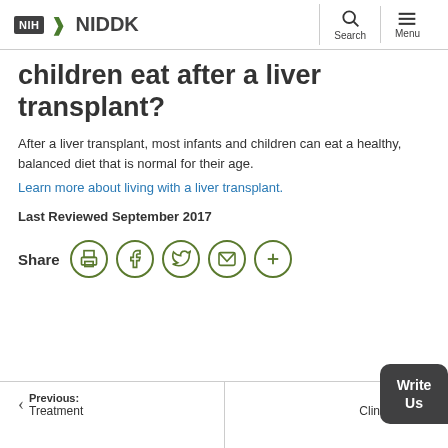NIH NIDDK
children eat after a liver transplant?
After a liver transplant, most infants and children can eat a healthy, balanced diet that is normal for their age.
Learn more about living with a liver transplant.
Last Reviewed September 2017
[Figure (infographic): Share icons row: Share label followed by five circular icon buttons for print, Facebook, Twitter, email, and more.]
Previous: Treatment | Next: Clinical Trials